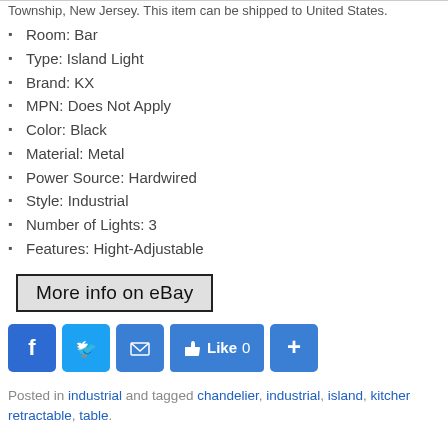Township, New Jersey. This item can be shipped to United States.
Room: Bar
Type: Island Light
Brand: KX
MPN: Does Not Apply
Color: Black
Material: Metal
Power Source: Hardwired
Style: Industrial
Number of Lights: 3
Features: Hight-Adjustable
More info on eBay
[Figure (other): Social sharing buttons: Facebook, Twitter, Email, Like 0, and Share (+)]
Posted in industrial and tagged chandelier, industrial, island, kitchen, retractable, table.